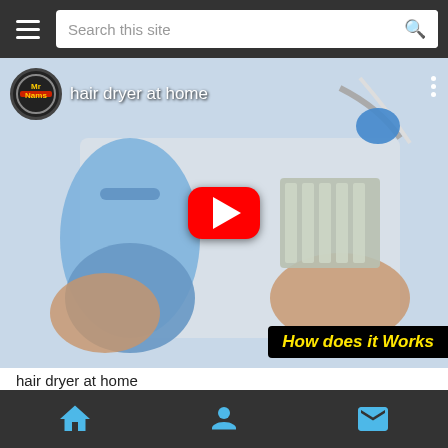Search this site
[Figure (screenshot): YouTube video thumbnail showing a person assembling a hair dryer at home, with blue plastic hair dryer parts and electronic components visible. Channel logo 'Mr Nams' in top left. Video title 'hair dryer at home'. Red YouTube play button in center. Black banner bottom right with yellow italic text 'How does it Works'.]
hair dryer at home
[Figure (infographic): Row of social share icons: share arrow, WhatsApp (green), Facebook (blue), Twitter (light blue), LinkedIn (blue), Pinterest (red), Email (grey)]
Home | About | Contact navigation bar